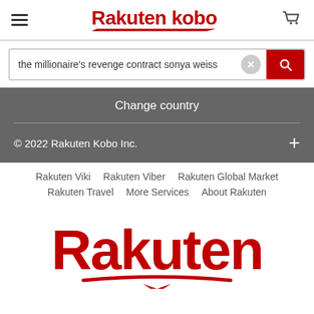[Figure (logo): Rakuten Kobo logo with hamburger menu and cart icon in header]
the millionaire's revenge contract sonya weiss
Change country
© 2022 Rakuten Kobo Inc.
Rakuten Viki  Rakuten Viber  Rakuten Global Market  Rakuten Travel  More Services  About Rakuten
[Figure (logo): Large red Rakuten logo with underline swoosh]